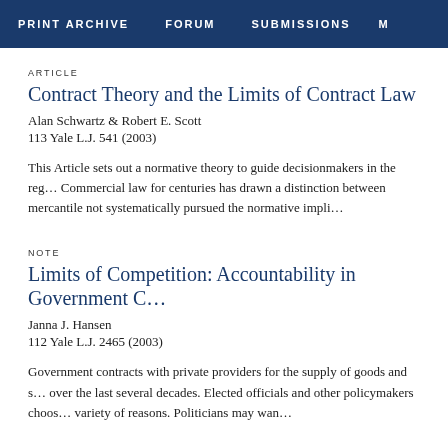PRINT ARCHIVE   FORUM   SUBMISSIONS   M
ARTICLE
Contract Theory and the Limits of Contract Law
Alan Schwartz & Robert E. Scott
113 Yale L.J. 541 (2003)
This Article sets out a normative theory to guide decisionmakers in the reg... Commercial law for centuries has drawn a distinction between mercantile not systematically pursued the normative impli…
NOTE
Limits of Competition: Accountability in Government C…
Janna J. Hansen
112 Yale L.J. 2465 (2003)
Government contracts with private providers for the supply of goods and s... over the last several decades. Elected officials and other policymakers choos... variety of reasons. Politicians may wan…